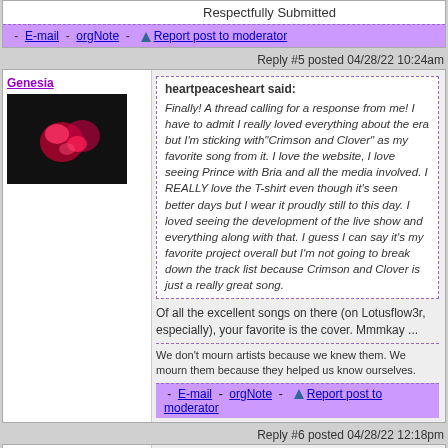Respectfully Submitted
- E-mail - orgNote - Report post to moderator
Reply #5 posted 04/28/22 10:24am
Genesia
heartpeacesheart said: Finally! A thread calling for a response from me! I have to admit I really loved everything about the era but I'm sticking with"Crimson and Clover" as my favorite song from it. I love the website, I love seeing Prince with Bria and all the media involved. I REALLY love the T-shirt even though it's seen better days but I wear it proudly still to this day. I loved seeing the development of the live show and everything along with that. I guess I can say it's my favorite project overall but I'm not going to break down the track list because Crimson and Clover is just a really great song.
Of all the excellent songs on there (on Lotusflow3r, especially), your favorite is the cover. Mmmkay ...
We don't mourn artists because we knew them. We mourn them because they helped us know ourselves.
- E-mail - orgNote - Report post to moderator
Reply #6 posted 04/28/22 12:18pm
lurker316
heartpeacesheart said: Finally! A thread calling for a response from me! I have to admit I really loved everything about the era but I'm sticking with"Crimson and Clover" as my favorite song from it. I love the website, I love seeing Prince with Bria and all the media involved. I REALLY love the T-shirt even though it's seen better days but I wear it proudly still to this day. I loved seeing the development of the live show and everything along with that. I guess I can say it's my favorite project overall but I'm not going to break down the track list